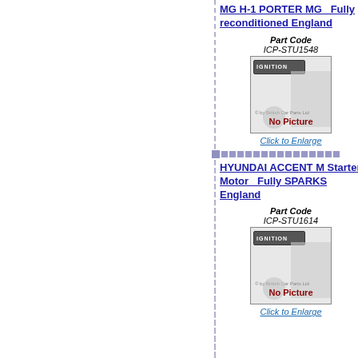MG H-1 PORTER MG   Fully reconditioned England
[Figure (photo): No Picture placeholder image for part code ICP-STU1548, showing IGNITION label and watermark]
Part Code ICP-STU1548
Click to Enlarge
HYUNDAI ACCENT M Starter Motor   Fully SPARKS England
[Figure (photo): No Picture placeholder image for part code ICP-STU1614, showing IGNITION label and watermark]
Part Code ICP-STU1614
Click to Enlarge